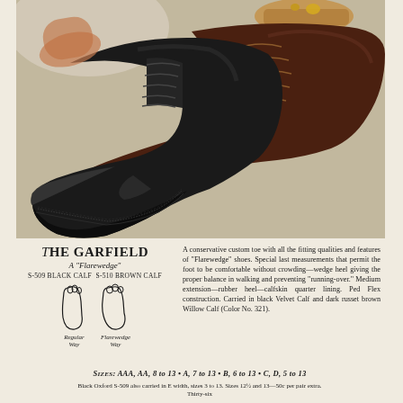[Figure (photo): Two Oxford cap-toe dress shoes displayed on a light beige surface — a black calf leather shoe on the left and a dark russet brown calf leather shoe on the right, both with cap-toe stitching and lace-up styling.]
The Garfield
A "Flarewedge"
S-509 BLACK CALF  S-510 BROWN CALF
[Figure (illustration): Two foot/sole diagrams side by side labeled Regular Way and Flarewedge Way, showing foot outline comparison]
A conservative custom toe with all the fitting qualities and features of "Flarewedge" shoes. Special last measurements that permit the foot to be comfortable without crowding—wedge heel giving the proper balance in walking and preventing "running-over." Medium extension—rubber heel—calfskin quarter lining. Ped Flex construction. Carried in black Velvet Calf and dark russet brown Willow Calf (Color No. 321).
SIZES: AAA, AA, 8 to 13 • A, 7 to 13 • B, 6 to 13 • C, D, 5 to 13
Black Oxford S-509 also carried in E width, sizes 3 to 13. Sizes 12½ and 13—50c per pair extra.
Thirty-six